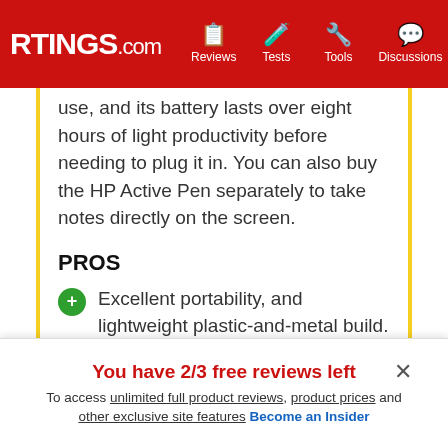RTINGS.com — Reviews, Tests, Tools, Discussions, Deals
use, and its battery lasts over eight hours of light productivity before needing to plug it in. You can also buy the HP Active Pen separately to take notes directly on the screen.
PROS
Excellent portability, and lightweight plastic-and-metal build.
Battery lasts a little over 8 hours of light productivity.
Keyboard feels good to type on and doesn't cause fatigue.
You have 2/3 free reviews left
To access unlimited full product reviews, product prices and other exclusive site features Become an Insider